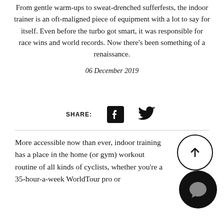From gentle warm-ups to sweat-drenched sufferfests, the indoor trainer is an oft-maligned piece of equipment with a lot to say for itself. Even before the turbo got smart, it was responsible for race wins and world records. Now there's been something of a renaissance.
06 December 2019
[Figure (other): Share section with Facebook and Twitter icons]
More accessible now than ever, indoor training has a place in the home (or gym) workout routine of all kinds of cyclists, whether you're a 35-hour-a-week WorldTour pro or